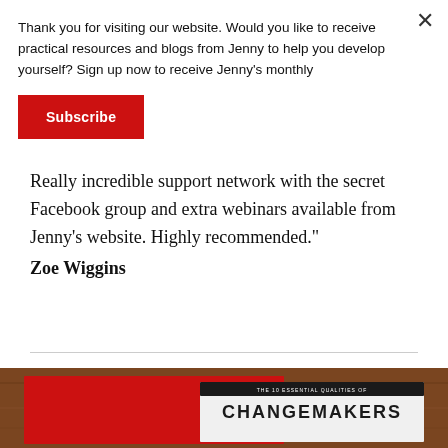Thank you for visiting our website. Would you like to receive practical resources and blogs from Jenny to help you develop yourself? Sign up now to receive Jenny's monthly
Subscribe
Really incredible support network with the secret Facebook group and extra webinars available from Jenny's website. Highly recommended."
Zoe Wiggins
[Figure (photo): Book titled CHANGEMAKERS on a red cover and wooden table background]